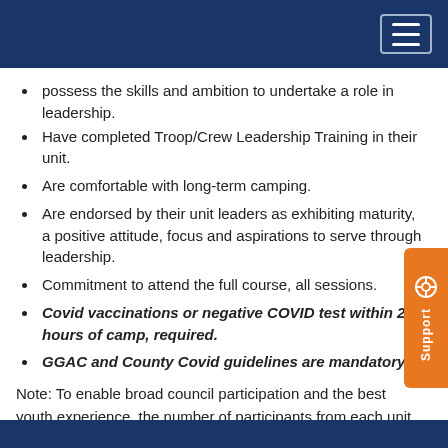possess the skills and ambition to undertake a role in leadership.
Have completed Troop/Crew Leadership Training in their unit.
Are comfortable with long-term camping.
Are endorsed by their unit leaders as exhibiting maturity, a positive attitude, focus and aspirations to serve through leadership.
Commitment to attend the full course, all sessions.
Covid vaccinations or negative COVID test within 24 hours of camp, required.
GGAC and County Covid guidelines are mandatory
Note: To enable broad council participation and the best youth experience, the number of participants from each unit may be limited. Additional reservations and out-of-council registrations are subject to availability.  GGAC participants have registration priority.